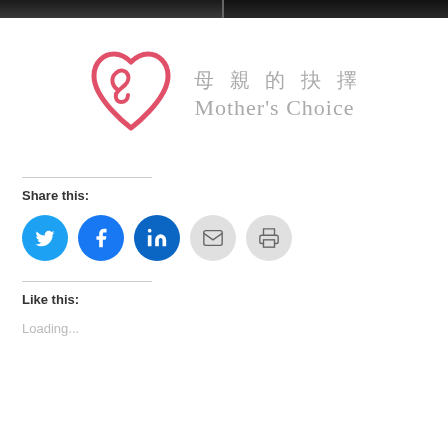[Figure (photo): Two dark landscape photos side by side at the top of the page]
[Figure (logo): Mother's Choice logo: red heart outline with spiral, Chinese text 母親的抉擇 and English text Mother's Choice in gray]
Share this:
[Figure (infographic): Social share buttons: Twitter (blue), Facebook (blue), LinkedIn (dark blue), Email (gray), Print (gray)]
Like this:
Loading...